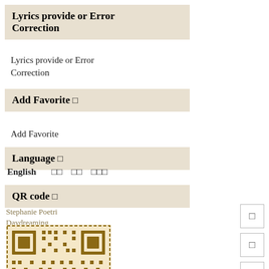Lyrics provide or Error Correction
Lyrics provide or Error Correction
Add Favorite □
Add Favorite
Language □
English  □□  □□  □□□
QR code □
Stephanie Poetri
Daydreaming
[Figure (other): QR code for Stephanie Poetri Daydreaming, brown/gold colored with MO JIM text overlay]
□
□
□